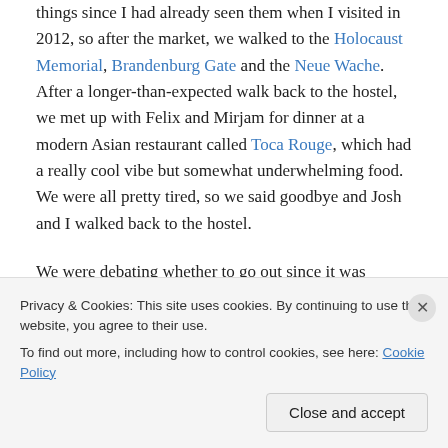things since I had already seen them when I visited in 2012, so after the market, we walked to the Holocaust Memorial, Brandenburg Gate and the Neue Wache. After a longer-than-expected walk back to the hostel, we met up with Felix and Mirjam for dinner at a modern Asian restaurant called Toca Rouge, which had a really cool vibe but somewhat underwhelming food. We were all pretty tired, so we said goodbye and Josh and I walked back to the hostel.
We were debating whether to go out since it was Saturday and Berlin but we were also tired, so we thought we'd go
Privacy & Cookies: This site uses cookies. By continuing to use this website, you agree to their use.
To find out more, including how to control cookies, see here: Cookie Policy